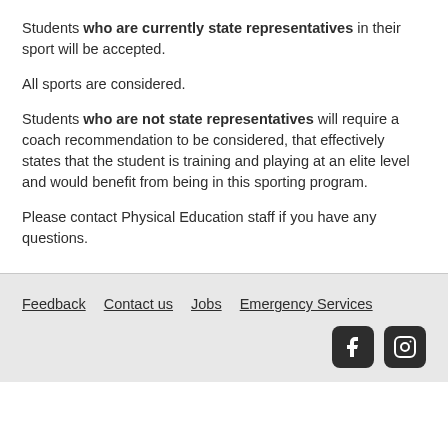Students who are currently state representatives in their sport will be accepted.
All sports are considered.
Students who are not state representatives will require a coach recommendation to be considered, that effectively states that the student is training and playing at an elite level and would benefit from being in this sporting program.
Please contact Physical Education staff if you have any questions.
Feedback   Contact us   Jobs   Emergency Services